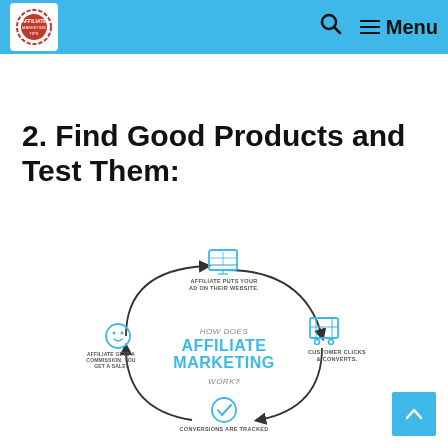Affiliate Marketing – Menu
2. Find Good Products and Test Them:
[Figure (infographic): Circular flowchart showing how affiliate marketing works: 'AFFILIATE PUTS YOUR AD ON THEIR WEBSITE.' (top, with monitor icon) → 'CUSTOMER CLICKS & CONVERTS.' (right, with shopping cart icon) → 'CONVERSIONS ARE TRACKED' (bottom, with checkmark icon) → 'AFFILIATE GETS A COMMISSION. YOU GET A SALE!' (left, with smiley face icon). Center text: HOW DOES AFFILIATE MARKETING WORK?]